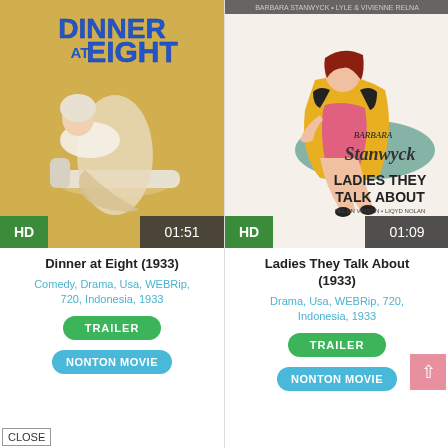[Figure (illustration): Movie poster for Dinner at Eight (1933) - golden background with woman in evening gown reclining, blue text DINNER AT EIGHT at top, HD badge and 01:51 duration]
Dinner at Eight (1933)
Comedy, Drama, Usa, WEBRip, 720, Indonesia, 1933
TRAILER
NONTON MOVIE
[Figure (illustration): Movie poster for Ladies They Talk About (1933) - cream background with Barbara Stanwyck seated, ornate script title, HD badge and 01:09 duration]
Ladies They Talk About (1933)
Drama, Usa, WEBRip, 720, Indonesia, 1933
TRAILER
NONTON MOVIE
CLOSE